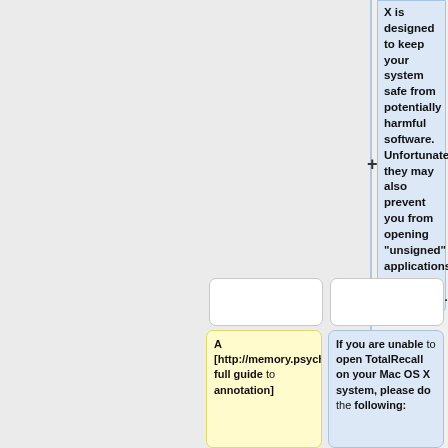X is designed to keep your system safe from potentially harmful software. Unfortunately, they may also prevent you from opening "unsigned" applications like TotalRecall.
[Figure (other): Empty white rounded rectangle placeholder (left)]
[Figure (other): Empty white rounded rectangle placeholder (right)]
A [http://memory.psych.upenn.edu/TotalRecall/AnnotationGuide full guide to annotation]
If you are unable to open TotalRecall on your Mac OS X system, please do the following: